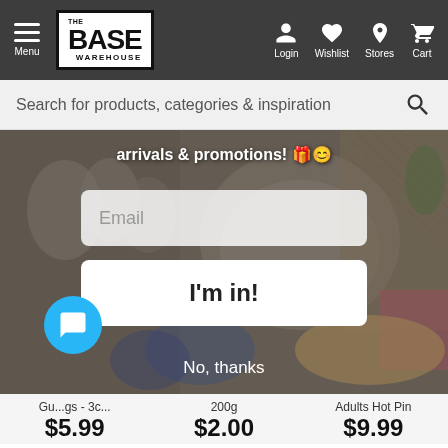[Figure (screenshot): The Base Warehouse e-commerce website screenshot showing navigation bar with Menu, logo, Login, Wishlist, Stores, Cart icons]
Search for products, categories & inspiration
arrivals & promotions! 🎁😊
Email
I'm in!
No, thanks
Gu...gs - 3c...
$5.99
200g
$2.00
Adults Hot Pin
$9.99